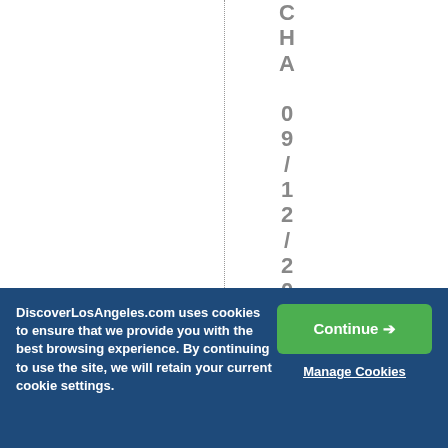CHA 09/12/2016 Jos
DiscoverLosAngeles.com uses cookies to ensure that we provide you with the best browsing experience. By continuing to use the site, we will retain your current cookie settings.
Continue →
Manage Cookies